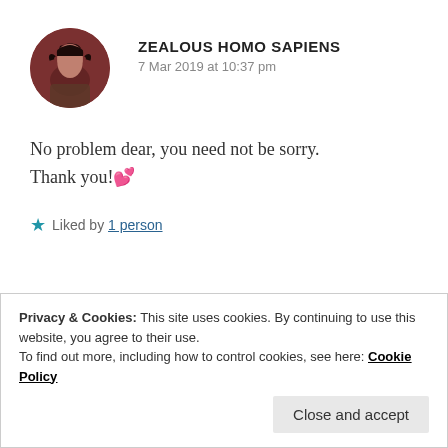[Figure (illustration): Circular avatar photo of a person with dark hair, sepia/dark reddish tone]
ZEALOUS HOMO SAPIENS
7 Mar 2019 at 10:37 pm
No problem dear, you need not be sorry. Thank you!💕
★ Liked by 1 person
Privacy & Cookies: This site uses cookies. By continuing to use this website, you agree to their use.
To find out more, including how to control cookies, see here: Cookie Policy
Close and accept